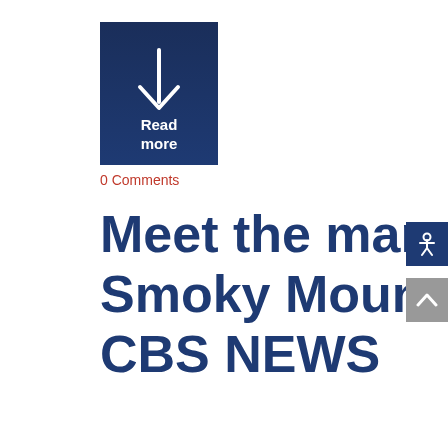[Figure (other): Dark navy blue square button with a downward arrow icon and 'Read more' text in white]
0 Comments
Meet the man in charge of Great Smoky Mountains National Park – CBS NEWS